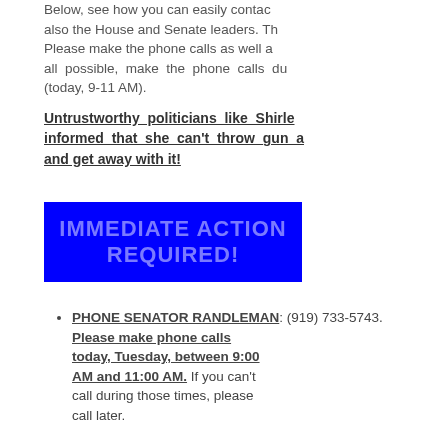Below, see how you can easily contact also the House and Senate leaders. The Please make the phone calls as well as all possible, make the phone calls dur (today, 9-11 AM).
Untrustworthy politicians like Shirley informed that she can't throw gun c and get away with it!
[Figure (infographic): Blue rectangle with light blue bold text reading IMMEDIATE ACTION REQUIRED!]
PHONE SENATOR RANDLEMAN: (919) 733-5743. Please make phone calls today, Tuesday, between 9:00 AM and 11:00 AM. If you can't call during those times, please call later.